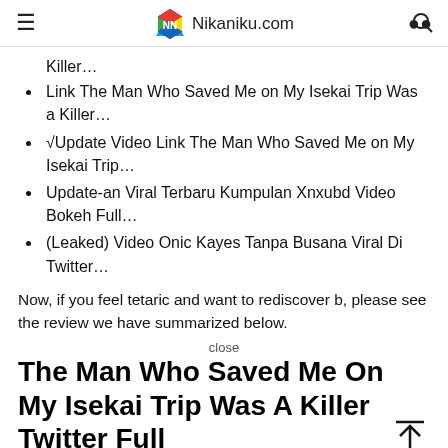Nikaniku.com
Killer…
Link The Man Who Saved Me on My Isekai Trip Was a Killer…
√Update Video Link The Man Who Saved Me on My Isekai Trip…
Update-an Viral Terbaru Kumpulan Xnxubd Video Bokeh Full…
(Leaked) Video Onic Kayes Tanpa Busana Viral Di Twitter…
Now, if you feel tetaric and want to rediscover b, please see the review we have summarized below.
close
The Man Who Saved Me On My Isekai Trip Was A Killer Twitter Full
Link Video The Man Who Saved Me On My Isekai Trip Was A